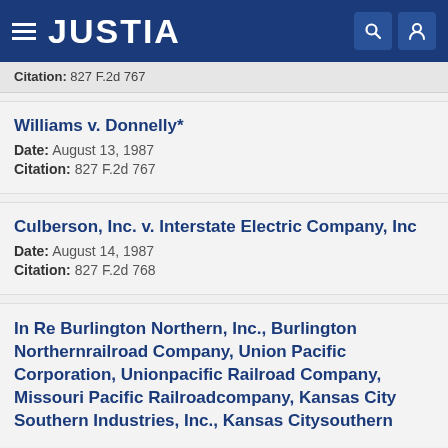JUSTIA
Citation: 827 F.2d 767
Williams v. Donnelly*
Date: August 13, 1987
Citation: 827 F.2d 767
Culberson, Inc. v. Interstate Electric Company, Inc
Date: August 14, 1987
Citation: 827 F.2d 768
In Re Burlington Northern, Inc., Burlington Northernrailroad Company, Union Pacific Corporation, Unionpacific Railroad Company, Missouri Pacific Railroadcompany, Kansas City Southern Industries, Inc., Kansas Citysouthern